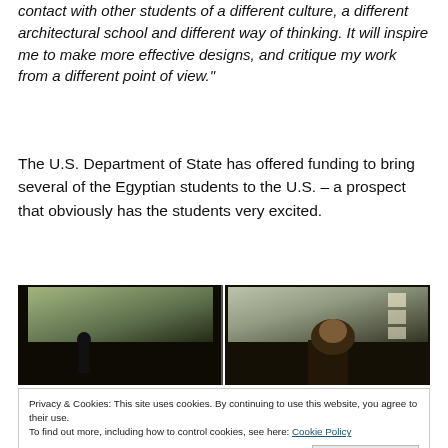contact with other students of a different culture, a different architectural school and different way of thinking. It will inspire me to make more effective designs, and critique my work from a different point of view."
The U.S. Department of State has offered funding to bring several of the Egyptian students to the U.S. – a prospect that obviously has the students very excited.
[Figure (photo): Two side-by-side dark photographs of people in what appears to be a lecture or presentation room with projected images visible]
Privacy & Cookies: This site uses cookies. By continuing to use this website, you agree to their use. To find out more, including how to control cookies, see here: Cookie Policy